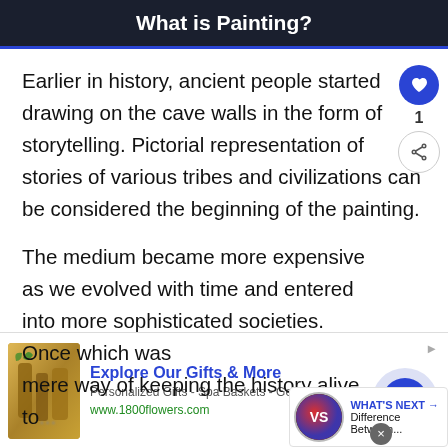What is Painting?
Earlier in history, ancient people started drawing on the cave walls in the form of storytelling. Pictorial representation of stories of various tribes and civilizations can be considered the beginning of the painting.
The medium became more expensive as we evolved with time and entered into more sophisticated societies. Once which was mere way of keeping the history alive, to...
[Figure (infographic): Advertisement for 1800flowers.com showing gift products including spa baskets, with text 'Explore Our Gifts & More', 'Personalized Gifts - Spa Baskets - Get Sets', 'www.1800flowers.com']